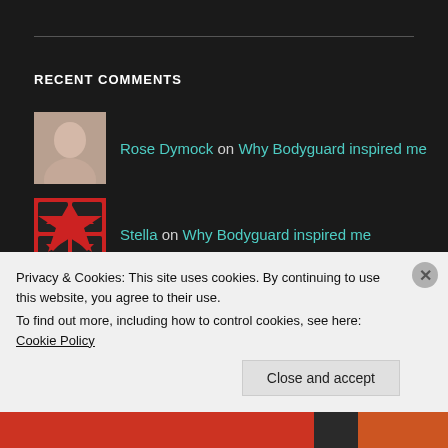RECENT COMMENTS
Rose Dymock on Why Bodyguard inspired me
Stella on Why Bodyguard inspired me
Donal OKelly on Highlights from July 2017
rebekahellerby on November 2016
AHA on May 2016
Privacy & Cookies: This site uses cookies. By continuing to use this website, you agree to their use.
To find out more, including how to control cookies, see here: Cookie Policy
Close and accept